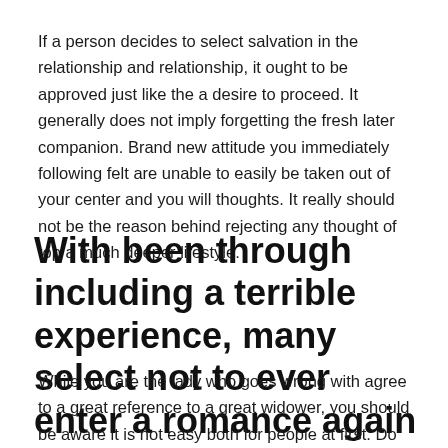If a person decides to select salvation in the relationship and relationship, it ought to be approved just like the a desire to proceed. It generally does not imply forgetting the fresh later companion. Brand new attitude you immediately following felt are unable to easily be taken out of your center and you will thoughts. It really should not be the reason behind rejecting any thought of top a much deeper lifestyle.
With been through including a terrible experience, many select not to ever enter a romance again
While you are the lady who goes wrong with agree to a great reference to a great widower, you should be aware it is not easy both for people at first. Do not be turned into away from